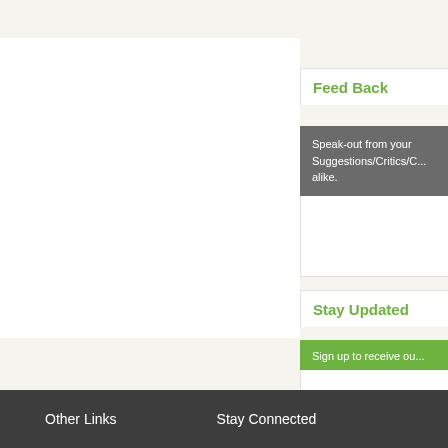Feed Back
Speak-out from your Suggestions/Critics/C... alike.
Stay Updated
Sign up to receive ou...
Other Links    Stay Connected